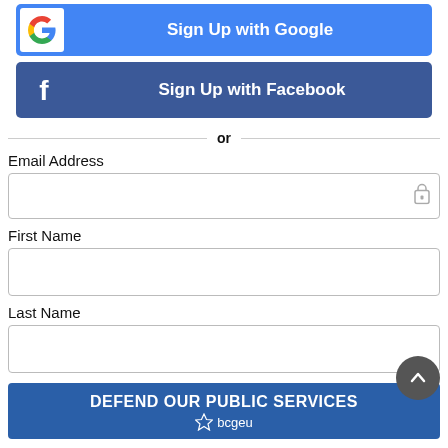[Figure (screenshot): Sign Up with Google button — blue background with Google G logo on white square and white bold text]
[Figure (screenshot): Sign Up with Facebook button — dark blue background with white Facebook F logo and white bold text]
or
Email Address
[Figure (screenshot): Email Address input field — empty white rectangle with border and key icon on right]
First Name
[Figure (screenshot): First Name input field — empty white rectangle with border]
Last Name
[Figure (screenshot): Last Name input field — empty white rectangle with border]
DEFEND OUR PUBLIC SERVICES bcgeu